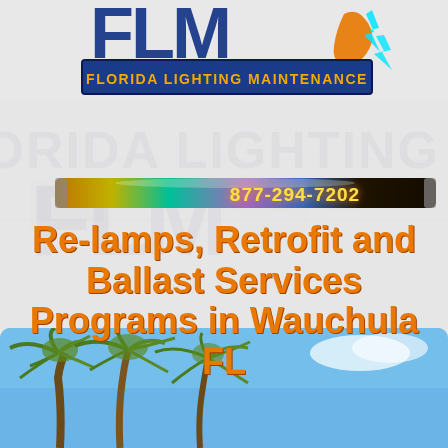[Figure (logo): Florida Lighting Maintenance (FLM) logo: large dark blue letters FLM above a dark blue banner with orange text reading FLORIDA LIGHTING MAINTENANCE, with lightning bolt and Florida map graphic]
[Figure (infographic): Fluorescent tube lamp graphic styled as phone number banner showing 877-294-7202 in yellow/gold bold text on dark background with colorful glowing tube lamp]
Re-lamps, Retrofit and Ballast Services Programs in Wauchula FL
[Figure (photo): Photo of palm trees against a blue sky, bottom of page]